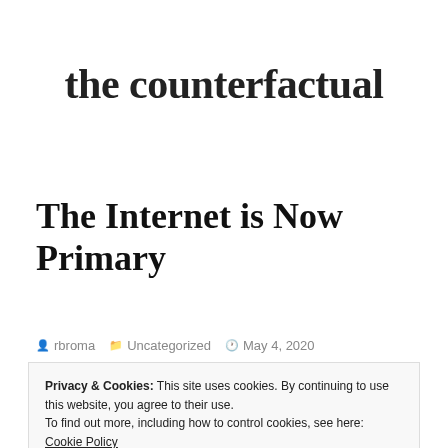the counterfactual
The Internet is Now Primary
rbroma   Uncategorized   May 4, 2020
Privacy & Cookies: This site uses cookies. By continuing to use this website, you agree to their use.
To find out more, including how to control cookies, see here: Cookie Policy
Close and accept
use and applications of the internet, the current